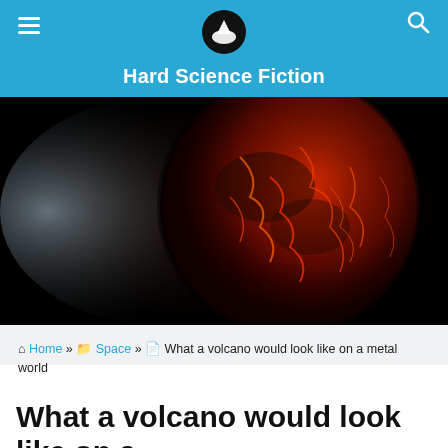Hard Science Fiction
[Figure (illustration): Digital illustration of a volcanic exoplanet with glowing red-orange lava cracks covering its surface against a dark space background, with atmospheric glow on one side.]
Home » Space » What a volcano would look like on a metal world
What a volcano would look like on a